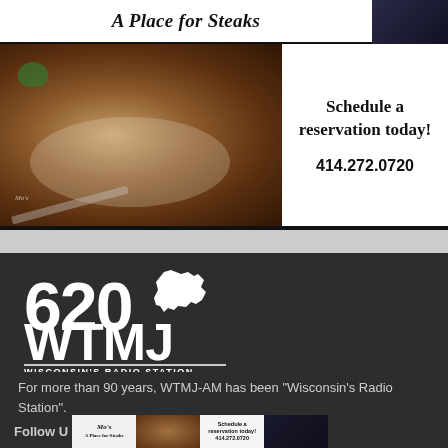[Figure (photo): Advertisement for Mo's A Place for Steaks restaurant. Shows steak photo on left, 'Schedule a reservation today! 414.272.0720' text on right, with restaurant interior image in upper right corner.]
[Figure (logo): 620 WTMJ Wisconsin's Radio Station logo in white on dark background]
For more than 90 years, WTMJ-AM has been "Wisconsin's Radio Station".
Follow U
[Figure (photo): Thumbnail strip showing Mo's steakhouse advertisement images: logo, steak photo, schedule reservation text, restaurant interior]